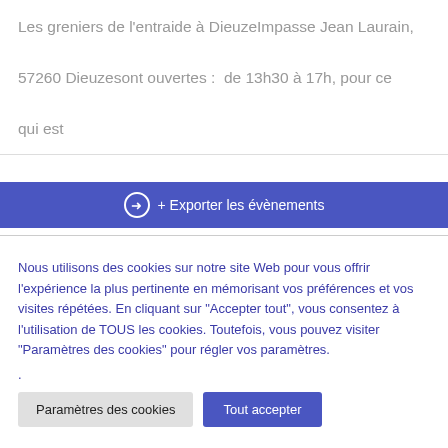Les greniers de l'entraide à DieuzeImpasse Jean Laurain, 57260 Dieuzesont ouvertes :  de 13h30 à 17h, pour ce qui est
➜  + Exporter les évènements
Nous utilisons des cookies sur notre site Web pour vous offrir l'expérience la plus pertinente en mémorisant vos préférences et vos visites répétées. En cliquant sur "Accepter tout", vous consentez à l'utilisation de TOUS les cookies. Toutefois, vous pouvez visiter "Paramètres des cookies" pour régler vos paramètres.
.
Paramètres des cookies
Tout accepter